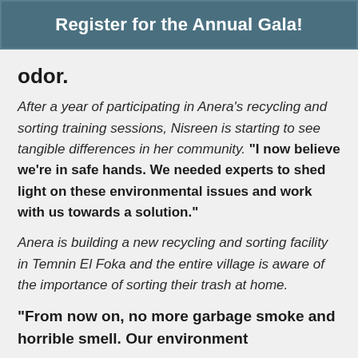Register for the Annual Gala!
odor.
After a year of participating in Anera's recycling and sorting training sessions, Nisreen is starting to see tangible differences in her community. "I now believe we're in safe hands. We needed experts to shed light on these environmental issues and work with us towards a solution."
Anera is building a new recycling and sorting facility in Temnin El Foka and the entire village is aware of the importance of sorting their trash at home.
"From now on, no more garbage smoke and horrible smell. Our environment..."